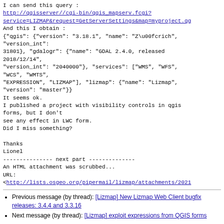I can send this query :
http://qgisserver//cgi-bin/qgis_mapserv.fcgi?service=LIZMAP&request=GetServerSettings&map=myproject.qg
And this I obtain :
{"qgis": {"version": "3.18.1", "name": "Z\u00fcrich", "version_int":
31801}, "gdalogr": {"name": "GDAL 2.4.0, released 2018/12/14",
"version_int": "2040000"}, "services": ["WMS", "WFS",
"WCS", "WMTS",
"EXPRESSION", "LIZMAP"], "lizmap": {"name": "Lizmap",
"version": "master"}}
It seems ok.
I published a project with visibility controls in qgis forms, but I don't
see any effect in LWC form.
Did I miss something?

Thanks
Lionel
--------------- next part --------------
An HTML attachment was scrubbed...
URL:
<http://lists.osgeo.org/pipermail/lizmap/attachments/2021
Previous message (by thread): [Lizmap] New Lizmap Web Client bugfix releases: 3.4.4 and 3.3.16
Next message (by thread): [Lizmap] exploit expressions from QGIS forms